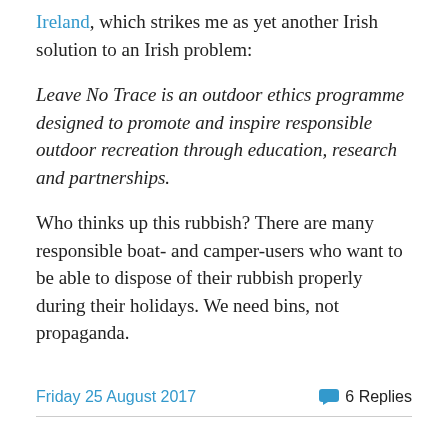Ireland, which strikes me as yet another Irish solution to an Irish problem:
Leave No Trace is an outdoor ethics programme designed to promote and inspire responsible outdoor recreation through education, research and partnerships.
Who thinks up this rubbish? There are many responsible boat- and camper-users who want to be able to dispose of their rubbish properly during their holidays. We need bins, not propaganda.
Friday 25 August 2017   6 Replies